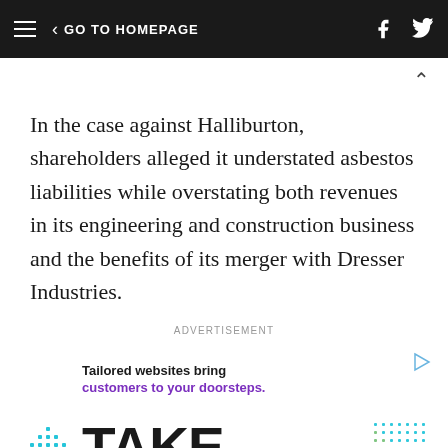GO TO HOMEPAGE
In the case against Halliburton, shareholders alleged it understated asbestos liabilities while overstating both revenues in its engineering and construction business and the benefits of its merger with Dresser Industries.
[Figure (infographic): Advertisement banner: 'Tailored websites bring customers to your doorsteps. TAKE THE' with dot arrow graphic and hand/laptop image]